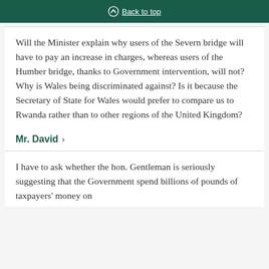Back to top
Will the Minister explain why users of the Severn bridge will have to pay an increase in charges, whereas users of the Humber bridge, thanks to Government intervention, will not? Why is Wales being discriminated against? Is it because the Secretary of State for Wales would prefer to compare us to Rwanda rather than to other regions of the United Kingdom?
Mr. David >
I have to ask whether the hon. Gentleman is seriously suggesting that the Government spend billions of pounds of taxpayers' money on